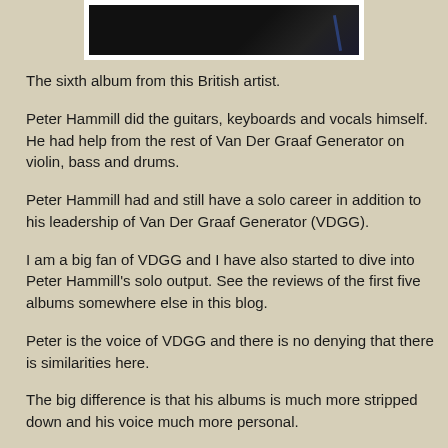[Figure (photo): Partial photograph of an artist, dark background with a blue element visible, framed in white]
The sixth album from this British artist.
Peter Hammill did the guitars, keyboards and vocals himself. He had help from the rest of Van Der Graaf Generator on violin, bass and drums.
Peter Hammill had and still have a solo career in addition to his leadership of Van Der Graaf Generator (VDGG).
I am a big fan of VDGG and I have also started to dive into Peter Hammill's solo output. See the reviews of the first five albums somewhere else in this blog.
Peter is the voice of VDGG and there is no denying that there is similarities here.
The big difference is that his albums is much more stripped down and his voice much more personal.